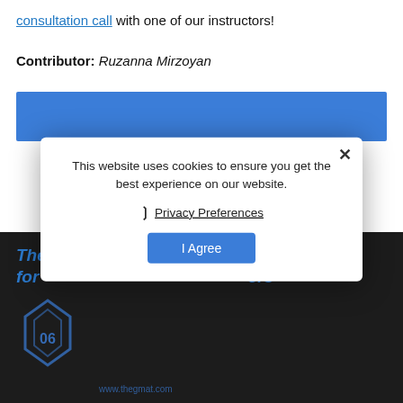consultation call with one of our instructors!
Contributor: Ruzanna Mirzoyan
[Figure (other): Blue rectangular banner/CTA block]
[Figure (other): Dark section with italic blue heading 'The best GMAT prep strategies for high scorers' and logo icon with www.thegmat.com]
This website uses cookies to ensure you get the best experience on our website.
Privacy Preferences
I Agree